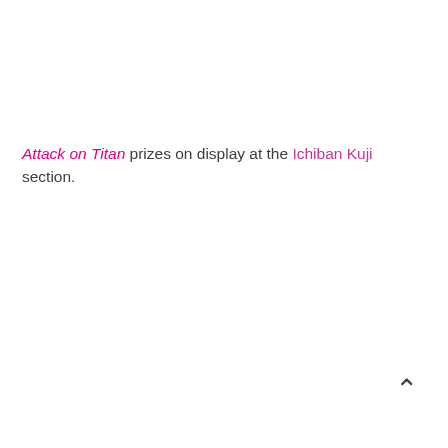Attack on Titan prizes on display at the Ichiban Kuji section.